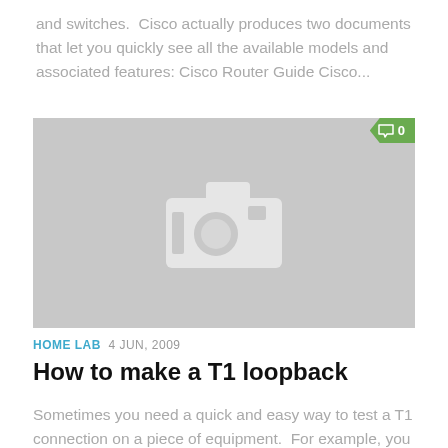and switches.  Cisco actually produces two documents that let you quickly see all the available models and associated features: Cisco Router Guide Cisco...
[Figure (photo): Placeholder image with a camera icon on a grey background. A green comment badge showing '0' is in the top-right corner.]
HOME LAB  4 JUN, 2009
How to make a T1 loopback
Sometimes you need a quick and easy way to test a T1 connection on a piece of equipment.  For example, you want to